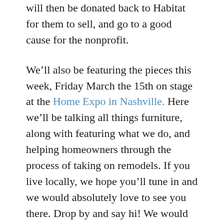will then be donated back to Habitat for them to sell, and go to a good cause for the nonprofit.
We’ll also be featuring the pieces this week, Friday March the 15th on stage at the Home Expo in Nashville. Here we’ll be talking all things furniture, along with featuring what we do, and helping homeowners through the process of taking on remodels. If you live locally, we hope you’ll tune in and we would absolutely love to see you there. Drop by and say hi! We would love to meet you.
Today, we’re giving a sneak peek of the fab pieces, and giving some of our very favorite furniture hacks. So without further ado...